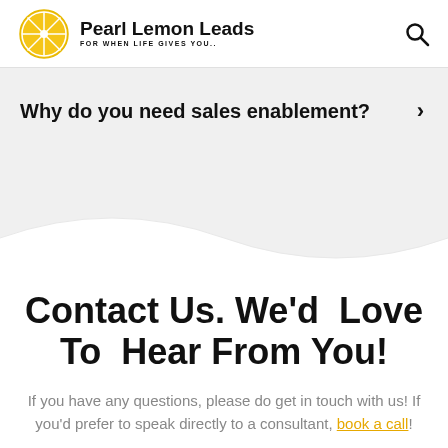[Figure (logo): Pearl Lemon Leads logo with yellow lemon slice icon and text 'FOR WHEN LIFE GIVES YOU..']
Why do you need sales enablement?
Contact Us. We'd Love To Hear From You!
If you have any questions, please do get in touch with us! If you'd prefer to speak directly to a consultant, book a call!